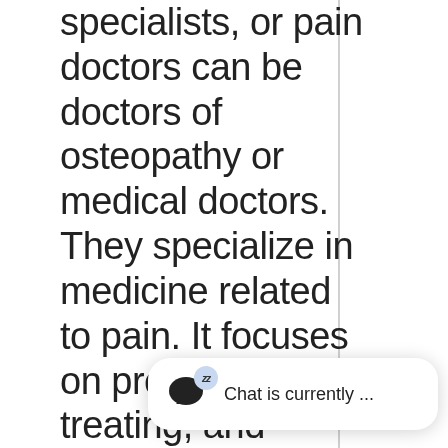specialists, or pain doctors can be doctors of osteopathy or medical doctors. They specialize in medicine related to pain. It focuses on preventing, treating, and evaluating pain. Pain physicians manage pain caused by disease and pain disorders. Pain physicians also work as consult- other heal providers a. help them [...]